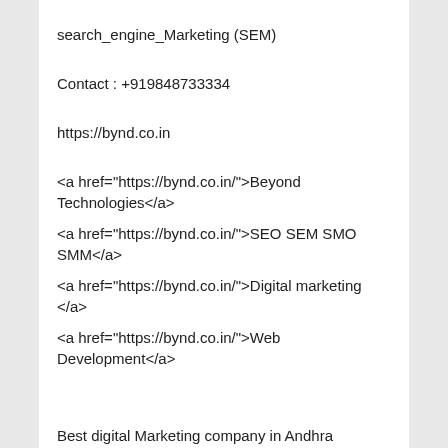search_engine_Marketing (SEM)
Contact : +919848733334
https://bynd.co.in
<a href="https://bynd.co.in/">Beyond Technologies</a>
<a href="https://bynd.co.in/">SEO SEM SMO SMM</a>
<a href="https://bynd.co.in/">Digital marketing </a>
<a href="https://bynd.co.in/">Web Development</a>
Best digital Marketing company in Andhra Pradesh
Digital marketing company in Andhra Pradesh